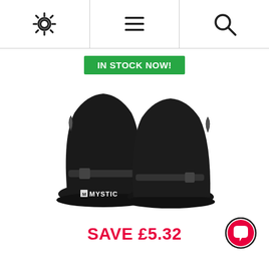Navigation bar with settings, menu, and search icons
IN STOCK NOW!
[Figure (photo): A pair of black Mystic neoprene wetsuit boots with strap and round toe, shown from the side on a white background.]
SAVE £5.32